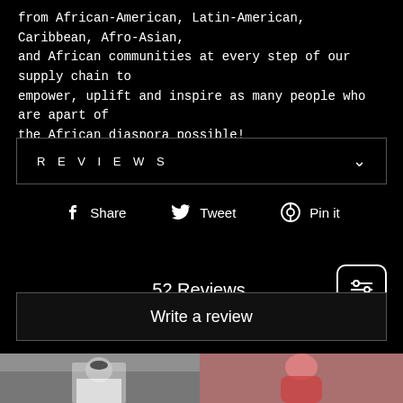from African-American, Latin-American, Caribbean, Afro-Asian, and African communities at every step of our supply chain to empower, uplift and inspire as many people who are apart of the African diaspora possible!
REVIEWS
Share  Tweet  Pin it
52 Reviews
Write a review
[Figure (photo): Person wearing white t-shirt and black cap standing indoors]
[Figure (photo): Person wearing red hoodie indoors]